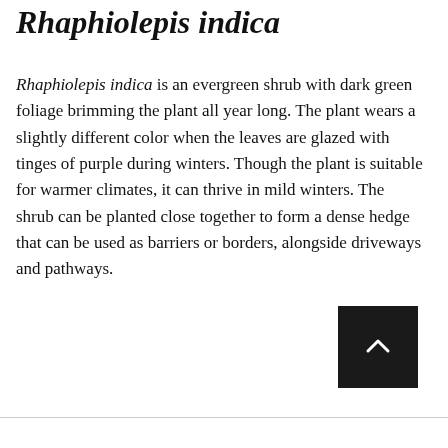Rhaphiolepis indica
Rhaphiolepis indica is an evergreen shrub with dark green foliage brimming the plant all year long. The plant wears a slightly different color when the leaves are glazed with tinges of purple during winters. Though the plant is suitable for warmer climates, it can thrive in mild winters. The shrub can be planted close together to form a dense hedge that can be used as barriers or borders, alongside driveways and pathways.